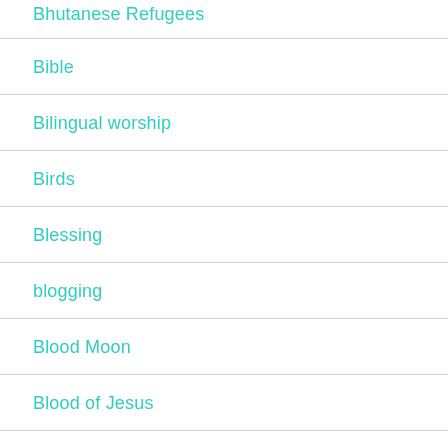Bhutanese Refugees
Bible
Bilingual worship
Birds
Blessing
blogging
Blood Moon
Blood of Jesus
Boats